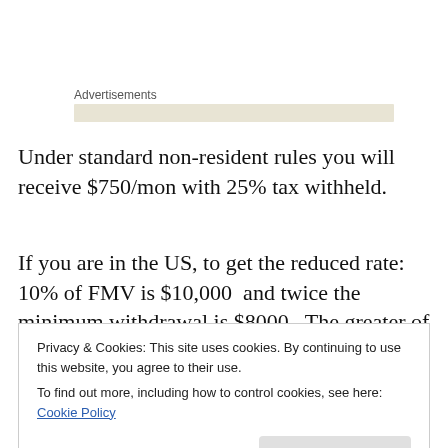Advertisements
Under standard non-resident rules you will receive $750/mon with 25% tax withheld.
If you are in the US, to get the reduced rate: 10% of FMV is $10,000  and twice the minimum withdrawal is $8000.  The greater of the two is $10,000.  This means the first $10,000 of each portion is withheld at 15% and the remainder at 25%, so you receive $750/month.
Privacy & Cookies: This site uses cookies. By continuing to use this website, you agree to their use.
To find out more, including how to control cookies, see here: Cookie Policy
receive $750/month.